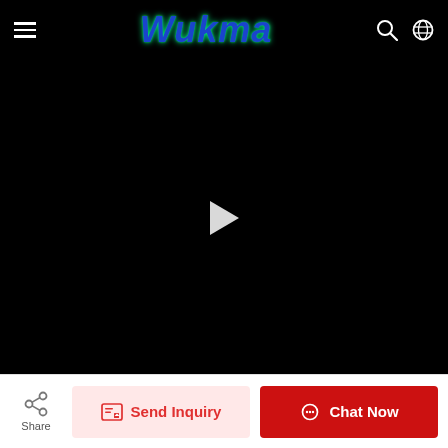Wukma
[Figure (screenshot): Black video player area with a white play button triangle in the center]
7 Inch LED Halo Headlights DRL Turn Signal Amber W...
7 Inch LED Halo Headlights DRL Turn Signal Amber White DRL C...
Share | Send Inquiry | Chat Now